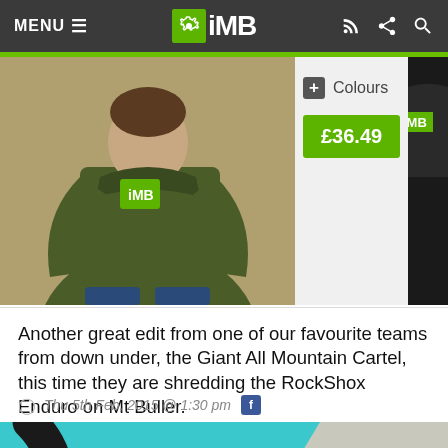MENU  iMB
[Figure (photo): Product images: green hoodie on left, price and colours info in center, black t-shirt partial on right]
Another great edit from one of our favourite teams from down under, the Giant All Mountain Cartel, this time they are shredding the RockShox Enduro on Mt Buller.
Thu 5th Feb, 2015 @ 1:30 pm
[Figure (screenshot): Bottom banner image with graffiti art, bicycle, and ROTG HARVEYS branding. Social share buttons showing Facebook (f), Twitter (bird) and count 5.4K overlaid at bottom left.]